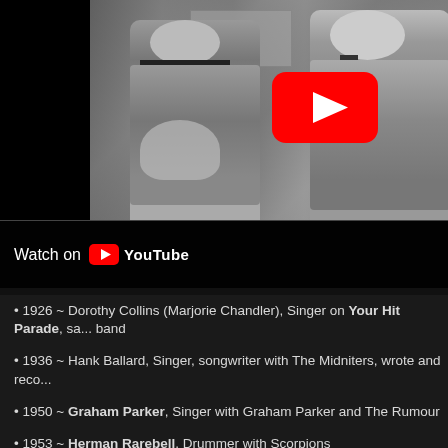[Figure (screenshot): Black and white video thumbnail showing two men in suits sitting together, with a red YouTube play button overlay in the center. A 'Watch on YouTube' bar appears at the bottom of the video frame.]
1926 ~ Dorothy Collins (Marjorie Chandler), Singer on Your Hit Parade, sa... band
1936 ~ Hank Ballard, Singer, songwriter with The Midniters, wrote and reco...
1950 ~ Graham Parker, Singer with Graham Parker and The Rumour
1953 ~ Herman Rarebell, Drummer with Scorpions
1960 ~ Kim Wilde, Singer